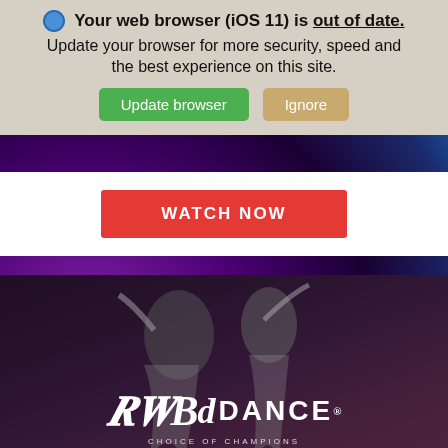Your web browser (iOS 11) is out of date. Update your browser for more security, speed and the best experience on this site.
[Figure (screenshot): Browser update banner with Update browser (green) and Ignore (tan) buttons]
WATCH NOW
[Figure (photo): Ballroom dancers in black and white against dark background with BD Dance logo - Choice of Champions]